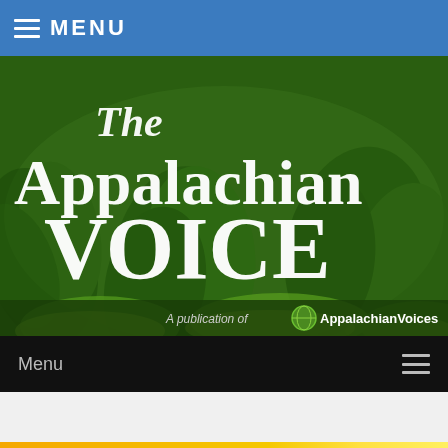MENU
[Figure (logo): The Appalachian Voice publication header banner with white serif text on a dark green forested background with ferns. Text reads 'The Appalachian VOICE' and below 'A publication of AppalachianVoices']
Menu
[Figure (other): Energy Report banner with orange/yellow gradient background, circular clipboard icon, bold white text reading 'Energy Report']